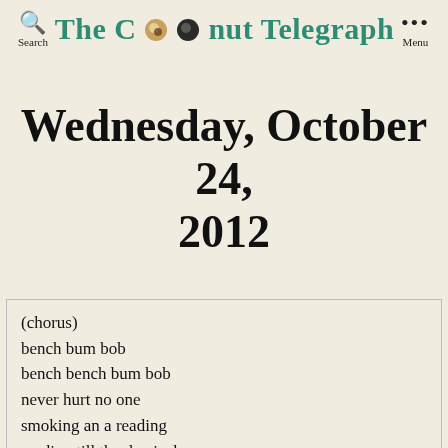The Coconut Telegraph
Wednesday, October 24, 2012
(chorus)
bench bum bob
bench bench bum bob
never hurt no one
smoking an a reading
reading till the day is done
bench bum bob
bench bench bum bob

Verse:
hes got no phone or email spot